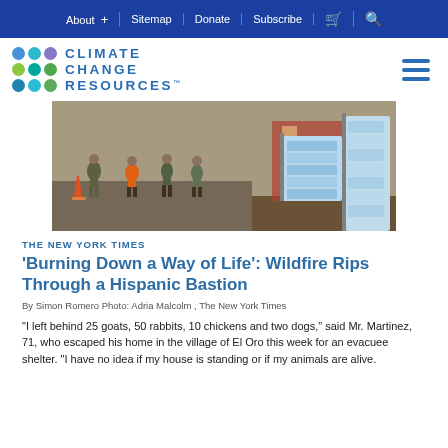About + | Sitemap | Donate | Subscribe | [cart] | [search]
[Figure (logo): Climate Change Resources logo with colored dot grid and text]
[Figure (photo): Outdoor scene showing people in military/work attire near stacks of water bottles, appearing to be a disaster relief distribution point]
THE NEW YORK TIMES
'Burning Down a Way of Life': Wildfire Rips Through a Hispanic Bastion
By Simon Romero Photo: Adria Malcolm , The New York Times
“I left behind 25 goats, 50 rabbits, 10 chickens and two dogs,” said Mr. Martinez, 71, who escaped his home in the village of El Oro this week for an evacuee shelter. “I have no idea if my house is standing or if my animals are alive.